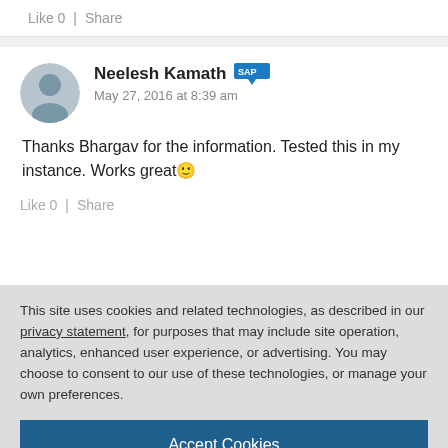Like 0  |  Share
[Figure (screenshot): Avatar photo of Neelesh Kamath]
Neelesh Kamath [SAP badge] May 27, 2016 at 8:39 am
Thanks Bhargav for the information. Tested this in my instance. Works great 🙂
Like 0  |  Share
This site uses cookies and related technologies, as described in our privacy statement, for purposes that may include site operation, analytics, enhanced user experience, or advertising. You may choose to consent to our use of these technologies, or manage your own preferences.
Accept Cookies
More Information
Privacy Policy | Powered by: TrustArc
thank you much for the Blog Post.